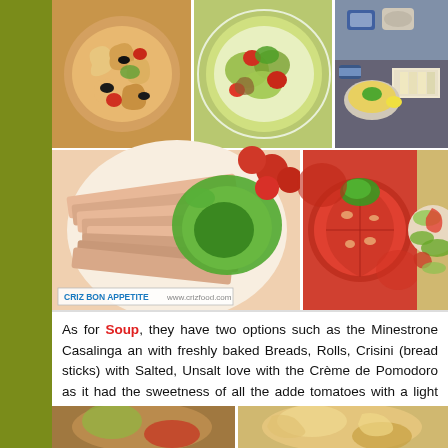[Figure (photo): Collage of 5 food photos: top-left pasta salad with olives and tomatoes, top-center green salad with tomatoes and herbs, top-right buffet table with dishes and cheeses, bottom-left large plate of sliced deli meats with lettuce and cherry tomatoes (watermark: CRIZ BON APPETITE www.crizfood.com), bottom-center sliced tomatoes with parsley, bottom-right cucumber and vegetable salad.]
As for Soup, they have two options such as the Minestrone Casalinga and with freshly baked Breads, Rolls, Crisini (bread sticks) with Salted, Unsalt love with the Crème de Pomodoro as it had the sweetness of all the adde tomatoes with a light hint of oregano and sour cream. Instead of having i some garlic croutons on the soup and it was heavenly delicious. As for th it to be a bit lack in flavors compared to my home cooked Russian Borsche did play a high role in pepping up the flavors of tomato based soup which none.
[Figure (photo): Bottom strip showing two partial food photos.]